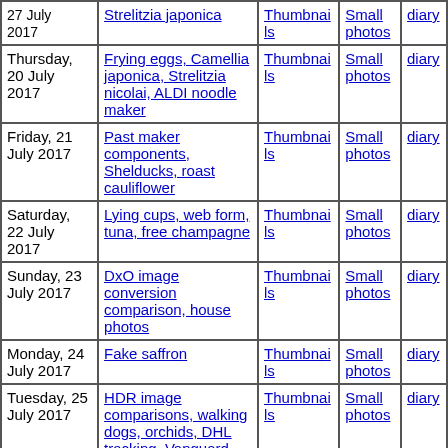| Date | Description | Thumbnails | Small photos | diary |
| --- | --- | --- | --- | --- |
| Thursday, 20 July 2017 | Frying eggs, Camellia japonica, Strelitzia nicolai, ALDI noodle maker | Thumbnails | Small photos | diary |
| Friday, 21 July 2017 | Past maker components, Shelducks, roast cauliflower | Thumbnails | Small photos | diary |
| Saturday, 22 July 2017 | Lying cups, web form, tuna, free champagne | Thumbnails | Small photos | diary |
| Sunday, 23 July 2017 | DxO image conversion comparison, house photos | Thumbnails | Small photos | diary |
| Monday, 24 July 2017 | Fake saffron | Thumbnails | Small photos | diary |
| Tuesday, 25 July 2017 | HDR image comparisons, walking dogs, orchids, DHL tracking, Vanguard Alta Pro instructions | Thumbnails | Small photos | diary |